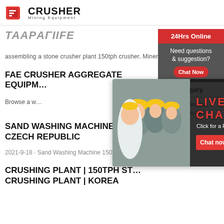CRUSHER Mining Equipment
ТAАPАГIIFE
assembling a stone crusher plant 150tph crusher. Mineral p...
FAE CRUSHER AGGREGATE EQUIPM…
Browse a w…
[Figure (screenshot): Live chat popup overlay showing workers in hard hats and a customer service representative, with LIVE CHAT title, 'Click for a Free Consultation', Chat now and Chat later buttons]
SAND WASHING MACHINE 150… CZECH REPUBLIC
2021-9-18 · Sand Washing Machine 150Tph In…
CRUSHING PLANT | 150TPH ST… CRUSHING PLANT | KOREA